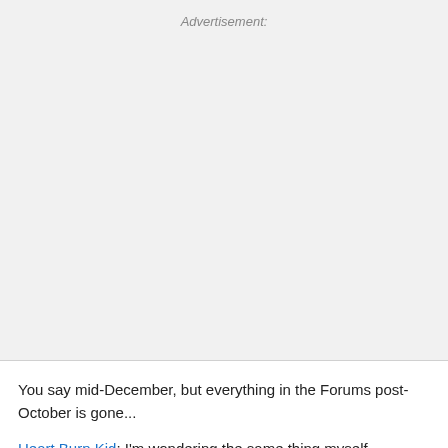[Figure (other): Advertisement placeholder area with light gray background and italic 'Advertisement:' label at top center]
You say mid-December, but everything in the Forums post-October is gone...
Heart Burn Kid: I'm wondering the same thing myself